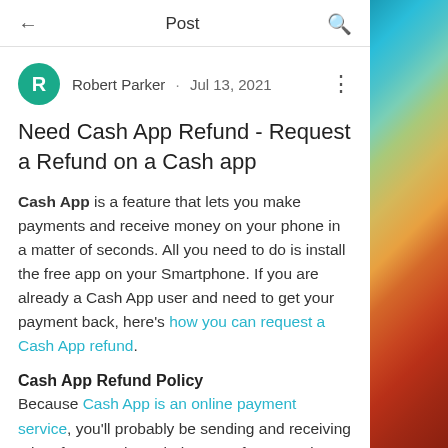Post
Robert Parker · Jul 13, 2021
Need Cash App Refund - Request a Refund on a Cash app
Cash App is a feature that lets you make payments and receive money on your phone in a matter of seconds. All you need to do is install the free app on your Smartphone. If you are already a Cash App user and need to get your payment back, here's how you can request a Cash App refund.
Cash App Refund Policy
Because Cash App is an online payment service, you'll probably be sending and receiving a lot of money through the app. If you need a refund from a payment you...